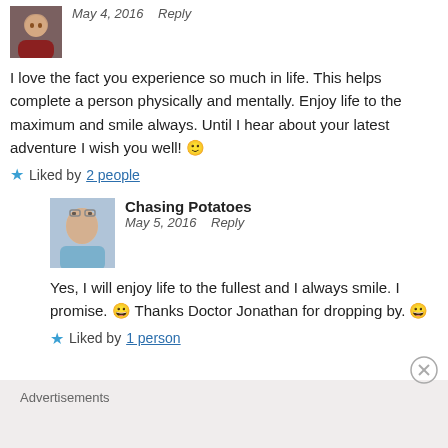[Figure (photo): Avatar photo of a man in a dark red shirt, small profile picture]
May 4, 2016   Reply
I love the fact you experience so much in life. This helps complete a person physically and mentally. Enjoy life to the maximum and smile always. Until I hear about your latest adventure I wish you well! 🙂
★ Liked by 2 people
[Figure (photo): Avatar photo of a young woman with glasses, profile picture for Chasing Potatoes]
Chasing Potatoes
May 5, 2016   Reply
Yes, I will enjoy life to the fullest and I always smile. I promise. 😀 Thanks Doctor Jonathan for dropping by. 😀
★ Liked by 1 person
Advertisements